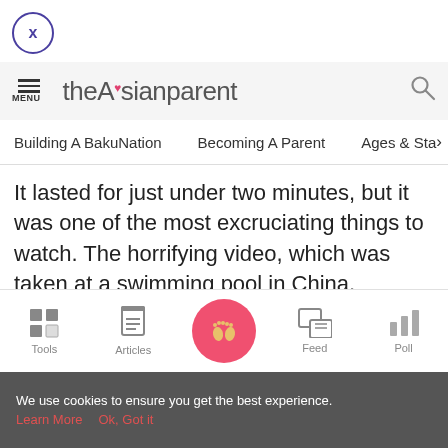[Figure (logo): Close button with X in circle, purple outline]
theAsianparent — menu icon, logo, search icon
Building A BakuNation   Becoming A Parent   Ages & Sta>
It lasted for just under two minutes, but it was one of the most excruciating things to watch. The horrifying video, which was taken at a swimming pool in China, highlights
Tools   Articles   [home icon]   Feed   Poll
We use cookies to ensure you get the best experience. Learn More   Ok, Got it